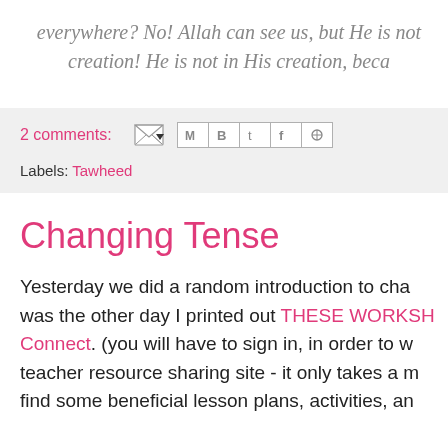everywhere? No! Allah can see us, but He is not creation! He is not in His creation, beca
2 comments:
Labels: Tawheed
Changing Tense
Yesterday we did a random introduction to cha was the other day I printed out THESE WORKSH Connect. (you will have to sign in, in order to w teacher resource sharing site - it only takes a m find some beneficial lesson plans, activities, an